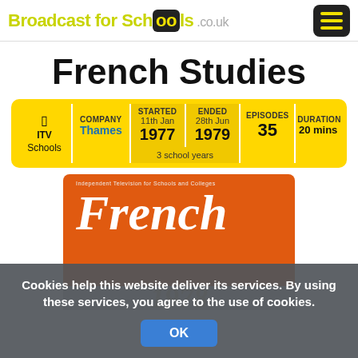Broadcast for Schools
French Studies
|  | COMPANY | STARTED | ENDED | EPISODES | DURATION |
| --- | --- | --- | --- | --- | --- |
| ITV Schools | Thames | 11th Jan 1977 | 28th Jun 1979 | 35 | 20 mins |
|  |  | 3 school years |  |  |  |
[Figure (photo): Orange book cover with white text reading 'French', subtitle 'Independent Television for Schools and Colleges']
Cookies help this website deliver its services. By using these services, you agree to the use of cookies.
OK